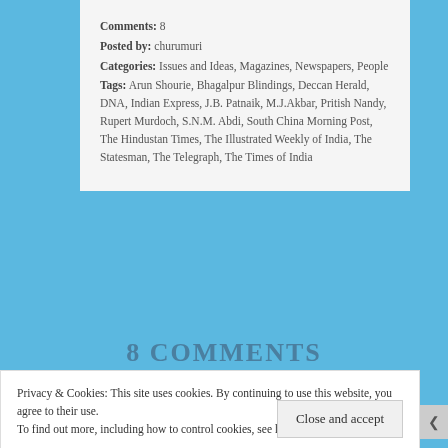Comments: 8
Posted by: churumuri
Categories: Issues and Ideas, Magazines, Newspapers, People
Tags: Arun Shourie, Bhagalpur Blindings, Deccan Herald, DNA, Indian Express, J.B. Patnaik, M.J.Akbar, Pritish Nandy, Rupert Murdoch, S.N.M. Abdi, South China Morning Post, The Hindustan Times, The Illustrated Weekly of India, The Statesman, The Telegraph, The Times of India
8 COMMENTS
Privacy & Cookies: This site uses cookies. By continuing to use this website, you agree to their use.
To find out more, including how to control cookies, see here: Cookie Policy